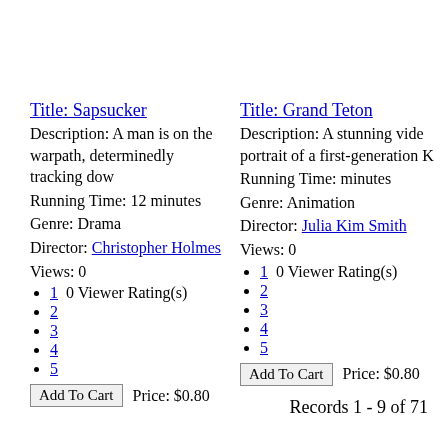Title: Sapsucker
Description: A man is on the warpath, determinedly tracking dow
Running Time: 12 minutes
Genre: Drama
Director: Christopher Holmes
Views: 0
1  0 Viewer Rating(s)
2
3
4
5
Add To Cart  Price: $0.80
Title: Grand Teton
Description: A stunning video portrait of a first-generation K
Running Time: minutes
Genre: Animation
Director: Julia Kim Smith
Views: 0
1  0 Viewer Rating(s)
2
3
4
5
Add To Cart  Price: $0.80
Records 1 - 9 of 71